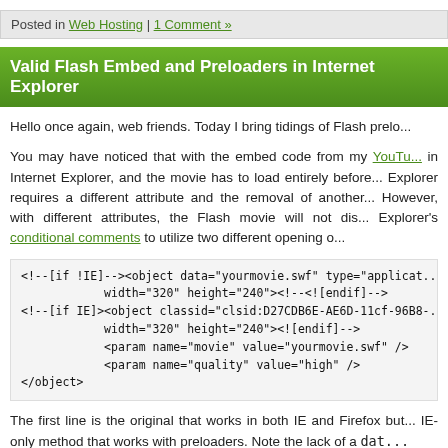Posted in Web Hosting | 1 Comment »
Valid Flash Embed and Preloaders in Internet Explorer
Hello once again, web friends. Today I bring tidings of Flash prelo...
You may have noticed that with the embed code from my YouTube... in Internet Explorer, and the movie has to load entirely before... Explorer requires a different attribute and the removal of another... However, with different attributes, the Flash movie will not dis... Explorer's conditional comments to utilize two different opening o...
<!--[if !IE]>--><object data="yourmovie.swf" type="applicat...
            width="320" height="240"><!--<![endif]-->
<!--[if IE]><object classid="clsid:D27CDB6E-AE6D-11cf-96B8-...
            width="320" height="240"><![endif]-->
            <param name="movie" value="yourmovie.swf" />
            <param name="quality" value="high" />
</object>
The first line is the original that works in both IE and Firefox but... IE-only method that works with preloaders. Note the lack of a dat...
Well, there you have it. Venture forth and embed Flash validly wit...